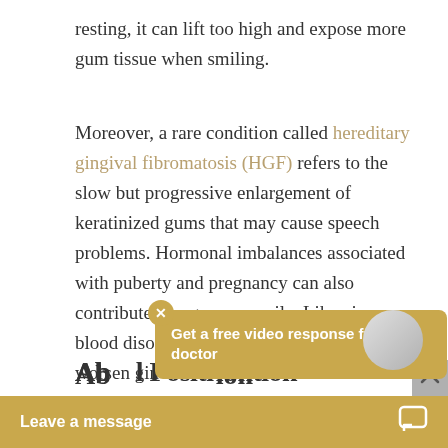resting, it can lift too high and expose more gum tissue when smiling.
Moreover, a rare condition called hereditary gingival fibromatosis (HGF) refers to the slow but progressive enlargement of keratinized gums that may cause speech problems. Hormonal imbalances associated with puberty and pregnancy can also contribute to a gummy smile. Likewise, blood disorders such as leukemia can also worsen gin...
Ab...l Posit...tion